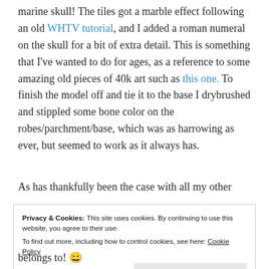marine skull! The tiles got a marble effect following an old WHTV tutorial, and I added a roman numeral on the skull for a bit of extra detail. This is something that I've wanted to do for ages, as a reference to some amazing old pieces of 40k art such as this one. To finish the model off and tie it to the base I drybrushed and stippled some bone color on the robes/parchment/base, which was as harrowing as ever, but seemed to work as it always has.
As has thankfully been the case with all my other
Privacy & Cookies: This site uses cookies. By continuing to use this website, you agree to their use.
To find out more, including how to control cookies, see here: Cookie Policy
[Close and accept]
belongs to! 😀